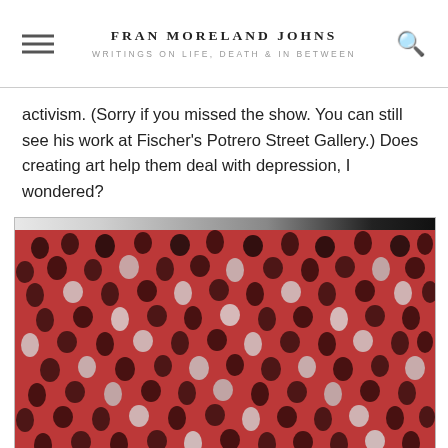FRAN MORELAND JOHNS
WRITINGS ON LIFE, DEATH & IN BETWEEN
activism. (Sorry if you missed the show. You can still see his work at Fischer’s Potrero Street Gallery.) Does creating art help them deal with depression, I wondered?
[Figure (photo): A photograph of a colorful artwork — appears to be a painting or textile with a red/crimson background covered in a repeating pattern of small dark figurative or abstract shapes, with some lighter/whitish areas in the middle, displayed against a light wall.]